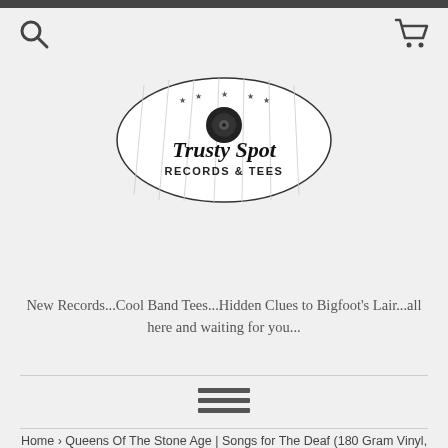Trusty Spot Records & Tees
[Figure (logo): Trusty Spot Records & Tees oval logo with vinyl record image and script text]
New Records...Cool Band Tees...Hidden Clues to Bigfoot's Lair...all here and waiting for you...
[Figure (other): Hamburger/menu icon with three horizontal lines]
Home › Queens Of The Stone Age | Songs for The Deaf (180 Gram Vinyl, Gatefold LP Jacket) (Explicit Content) (2 LP)